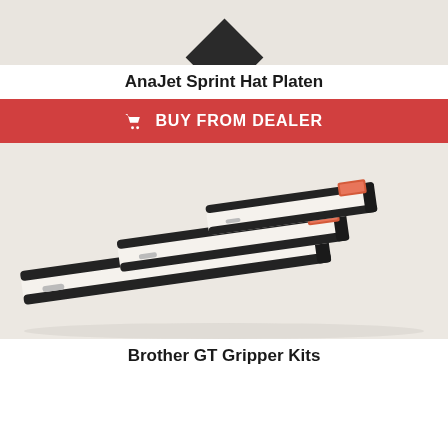[Figure (photo): Top portion of AnaJet Sprint Hat Platen shown as a dark diamond/rhombus shape against a light beige background]
AnaJet Sprint Hat Platen
[Figure (infographic): Red button/banner with shopping cart icon and text 'BUY FROM DEALER']
[Figure (photo): Three Brother GT Gripper Kits of varying sizes arranged diagonally, showing black rubber grippers with white foam padding and orange/red label tags, against a light beige/grey background]
Brother GT Gripper Kits